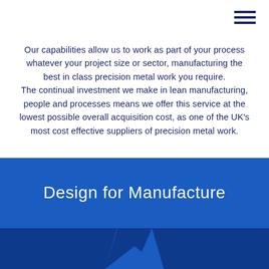[Figure (other): Hamburger menu icon (three horizontal dark navy lines) in the top right corner]
Our capabilities allow us to work as part of your process whatever your project size or sector, manufacturing the best in class precision metal work you require. The continual investment we make in lean manufacturing, people and processes means we offer this service at the lowest possible overall acquisition cost, as one of the UK's most cost effective suppliers of precision metal work.
Design for Manufacture
[Figure (illustration): Dark navy blue chevron/arrow shapes at the bottom of the blue banner section]